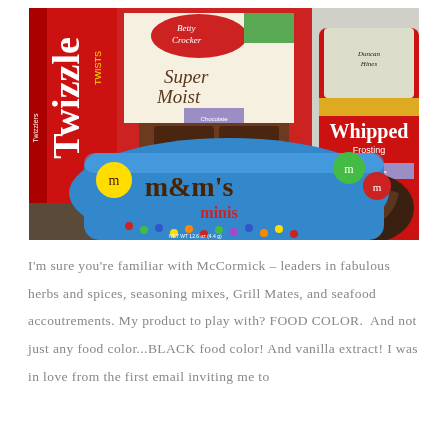[Figure (photo): Photo of baking and candy ingredients on a dark surface: Twizzlers Twists box (red), Betty Crocker Super Moist Chocolate Fudge cake mix box, M&M's Minis bag (blue), and Duncan Hines Whipped Chocolate Frosting can (red).]
I'm sure you're familiar with McCormick – leaders in fabulous herbs and spices, seasoning mixes, Grill Mates, and seafood accoutrements. My product to play with? FOOD COLOR.  And not just any food color...BLACK food color! And vanilla extract! I was in love from the first email inviting me to